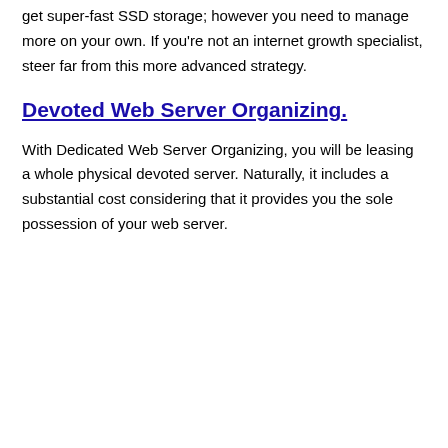get super-fast SSD storage; however you need to manage more on your own. If you're not an internet growth specialist, steer far from this more advanced strategy.
Devoted Web Server Organizing.
With Dedicated Web Server Organizing, you will be leasing a whole physical devoted server. Naturally, it includes a substantial cost considering that it provides you the sole possession of your web server.